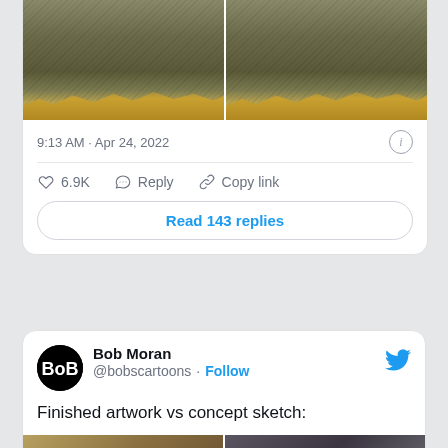[Figure (screenshot): Two side-by-side artwork images showing a dark landscape with golden/brown foliage at the bottom, with crosshatch texture overlay.]
9:13 AM · Apr 24, 2022
6.9K   Reply   Copy link
Read 143 replies
Bob Moran
@bobscartoons · Follow
Finished artwork vs concept sketch:
[Figure (photo): Two side-by-side images at the bottom of the tweet, partially visible.]